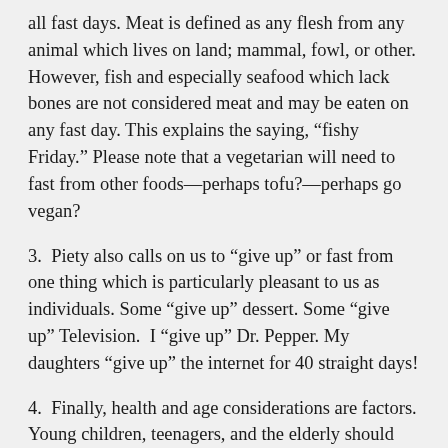all fast days. Meat is defined as any flesh from any animal which lives on land; mammal, fowl, or other. However, fish and especially seafood which lack bones are not considered meat and may be eaten on any fast day. This explains the saying, “fishy Friday.” Please note that a vegetarian will need to fast from other foods—perhaps tofu?—perhaps go vegan?
3.  Piety also calls on us to “give up” or fast from one thing which is particularly pleasant to us as individuals. Some “give up” dessert. Some “give up” Television.  I “give up” Dr. Pepper. My daughters “give up” the internet for 40 straight days!
4.  Finally, health and age considerations are factors. Young children, teenagers, and the elderly should fast with wisdom—safely and with health. However, all able bodied persons are expected to participate in the spiritual disciplines of Lent, including fasting.